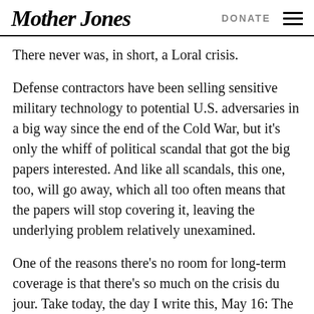Mother Jones | DONATE
There never was, in short, a Loral crisis.
Defense contractors have been selling sensitive military technology to potential U.S. adversaries in a big way since the end of the Cold War, but it’s only the whiff of political scandal that got the big papers interested. And like all scandals, this one, too, will go away, which all too often means that the papers will stop covering it, leaving the underlying problem relatively unexamined.
One of the reasons there’s no room for long-term coverage is that there’s so much on the crisis du jour. Take today, the day I write this, May 16: The biggest story is the atom bomb tests in India (and Frank